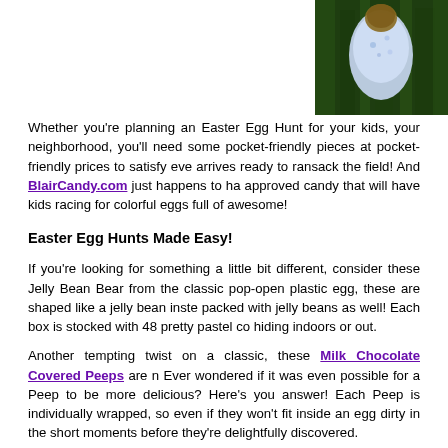[Figure (photo): Child photographed from above lying on grass, wearing light blue patterned clothing, viewed from overhead perspective]
Whether you're planning an Easter Egg Hunt for your kids, your neighborhood, you'll need some pocket-friendly pieces at pocket-friendly prices to satisfy eve arrives ready to ransack the field! And BlairCandy.com just happens to ha approved candy that will have kids racing for colorful eggs full of awesome!
Easter Egg Hunts Made Easy!
If you're looking for something a little bit different, consider these Jelly Bean Bear from the classic pop-open plastic egg, these are shaped like a jelly bean inste packed with jelly beans as well! Each box is stocked with 48 pretty pastel co hiding indoors or out.
Another tempting twist on a classic, these Milk Chocolate Covered Peeps are n Ever wondered if it was even possible for a Peep to be more delicious? Here's you answer! Each Peep is individually wrapped, so even if they won't fit inside an egg dirty in the short moments before they're delightfully discovered.
Want special prizes for 'winning' eggs or Treat Bags? At my favorite annual Easte childhood, there were actually only a small amount of colorful candy-filled eggs the prizes were found in treat bags, which all included some sort of candy, fro Dubble Bubble. But the special 'winning' bags also contained a certificate that le a special prize was waiting for them after all the eggs and treat bags ha Sometimes the special prize was something larger, like a baseball bat or doll d business. And sometimes it was something smaller but still fantastic to win, like Bunny. Honestly, it didn't matter much what that certificate won me. The rea toward the man in charge of the special prizes with a ticket in my trembling